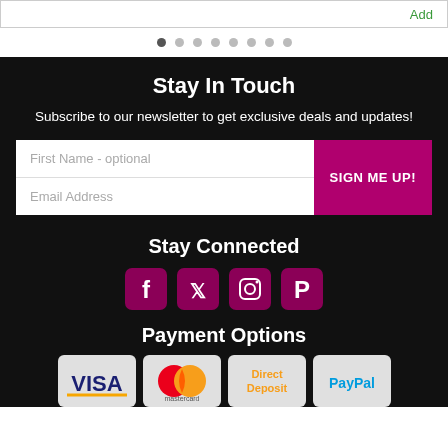Add
[Figure (other): Carousel navigation dots, 8 dots with first one active]
Stay In Touch
Subscribe to our newsletter to get exclusive deals and updates!
First Name - optional
Email Address
SIGN ME UP!
Stay Connected
[Figure (other): Social media icons: Facebook, Twitter, Instagram, Pinterest in magenta/dark pink rounded square style]
Payment Options
[Figure (other): Payment method logos: VISA, Mastercard, Direct Deposit, PayPal on light grey rounded rectangle backgrounds]